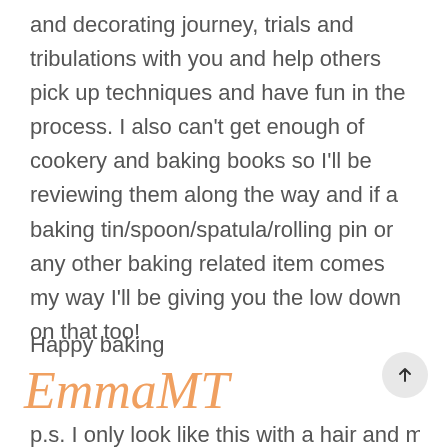and decorating journey, trials and tribulations with you and help others pick up techniques and have fun in the process. I also can't get enough of cookery and baking books so I'll be reviewing them along the way and if a baking tin/spoon/spatula/rolling pin or any other baking related item comes my way I'll be giving you the low down on that too!
Happy baking
EmmaMT
p.s. I only look like this with a hair and make-up team